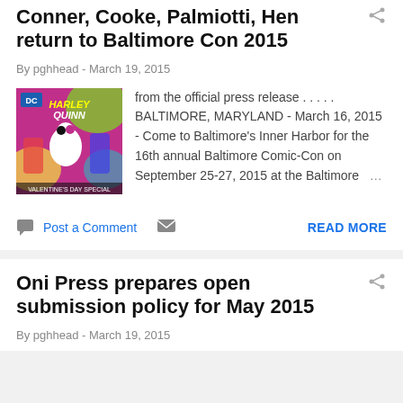Conner, Cooke, Palmiotti, Hen return to Baltimore Con 2015
By pghhead - March 19, 2015
[Figure (illustration): Harley Quinn comic book cover thumbnail]
from the official press release . . . . . BALTIMORE, MARYLAND - March 16, 2015 - Come to Baltimore's Inner Harbor for the 16th annual Baltimore Comic-Con on September 25-27, 2015 at the Baltimore ...
Post a Comment  READ MORE
Oni Press prepares open submission policy for May 2015
By pghhead - March 19, 2015